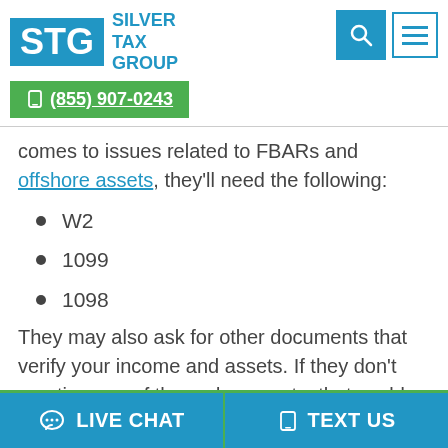STG Silver Tax Group | (855) 907-0243
comes to issues related to FBARs and offshore assets, they'll need the following:
W2
1099
1098
They may also ask for other documents that verify your income and assets. If they don't mention any of these documents, that could be
LIVE CHAT | TEXT US